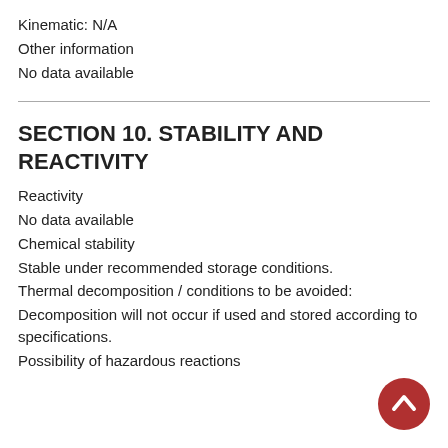Kinematic: N/A
Other information
No data available
SECTION 10. STABILITY AND REACTIVITY
Reactivity
No data available
Chemical stability
Stable under recommended storage conditions.
Thermal decomposition / conditions to be avoided:
Decomposition will not occur if used and stored according to specifications.
Possibility of hazardous reactions